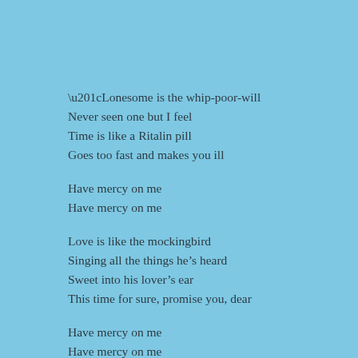“Lonesome is the whip-poor-will
Never seen one but I feel
Time is like a Ritalin pill
Goes too fast and makes you ill

Have mercy on me
Have mercy on me

Love is like the mockingbird
Singing all the things he’s heard
Sweet into his lover’s ear
This time for sure, promise you, dear

Have mercy on me
Have mercy on me

Shameful is the cardinal